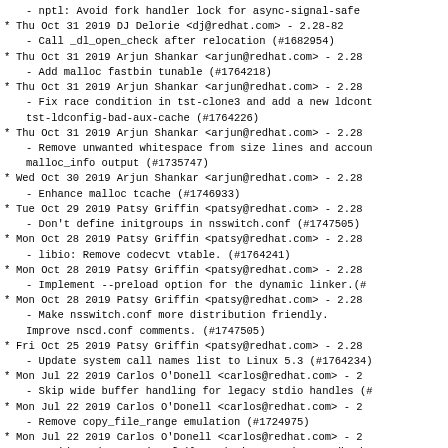- nptl: Avoid fork handler lock for async-signal-safe
* Thu Oct 31 2019 DJ Delorie <dj@redhat.com> - 2.28-82
  - Call _dl_open_check after relocation (#1682954)
* Thu Oct 31 2019 Arjun Shankar <arjun@redhat.com> - 2.28
  - Add malloc fastbin tunable (#1764218)
* Thu Oct 31 2019 Arjun Shankar <arjun@redhat.com> - 2.28
  - Fix race condition in tst-clone3 and add a new ldconf
    tst-ldconfig-bad-aux-cache (#1764226)
* Thu Oct 31 2019 Arjun Shankar <arjun@redhat.com> - 2.28
  - Remove unwanted whitespace from size lines and accoun
    malloc_info output (#1735747)
* Wed Oct 30 2019 Arjun Shankar <arjun@redhat.com> - 2.28
  - Enhance malloc tcache (#1746933)
* Tue Oct 29 2019 Patsy Griffin <patsy@redhat.com> - 2.28
  - Don't define initgroups in nsswitch.conf (#1747505)
* Mon Oct 28 2019 Patsy Griffin <patsy@redhat.com> - 2.28
  - libio: Remove codecvt vtable. (#1764241)
* Mon Oct 28 2019 Patsy Griffin <patsy@redhat.com> - 2.28
  - Implement --preload option for the dynamic linker.(#
* Mon Oct 28 2019 Patsy Griffin <patsy@redhat.com> - 2.28
  - Make nsswitch.conf more distribution friendly.
    Improve nscd.conf comments.  (#1747505)
* Fri Oct 25 2019 Patsy Griffin <patsy@redhat.com> - 2.28
  - Update system call names list to Linux 5.3 (#1764234)
* Mon Jul 22 2019 Carlos O'Donell <carlos@redhat.com> - 2
  - Skip wide buffer handling for legacy stdio handles (#
* Mon Jul 22 2019 Carlos O'Donell <carlos@redhat.com> - 2
  - Remove copy_file_range emulation (#1724975)
* Mon Jul 22 2019 Carlos O'Donell <carlos@redhat.com> - 2
  - Avoid nscd assertion failure during persistent db che